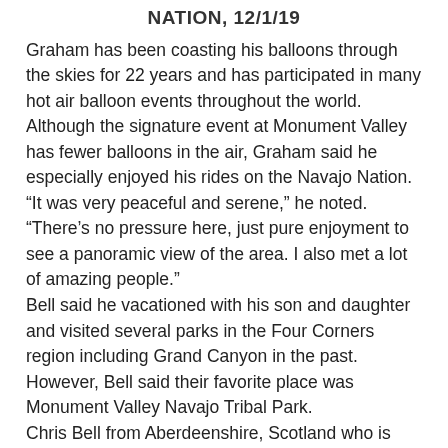NATION, 12/1/19
Graham has been coasting his balloons through the skies for 22 years and has participated in many hot air balloon events throughout the world. Although the signature event at Monument Valley has fewer balloons in the air, Graham said he especially enjoyed his rides on the Navajo Nation.
“It was very peaceful and serene,” he noted. “There’s no pressure here, just pure enjoyment to see a panoramic view of the area. I also met a lot of amazing people.”
Bell said he vacationed with his son and daughter and visited several parks in the Four Corners region including Grand Canyon in the past. However, Bell said their favorite place was Monument Valley Navajo Tribal Park.
Chris Bell from Aberdeenshire, Scotland who is Bell's brother came along for the ride so to speak, but he didn't know he was going to also get a birds-eye-view of the iconic red rock formations.
Bell said “It was absolutely amazing and it exceeded my expectation. It was just wonderful and I feel privileged that I had an opportunity to be a rider. I can see why people see it as